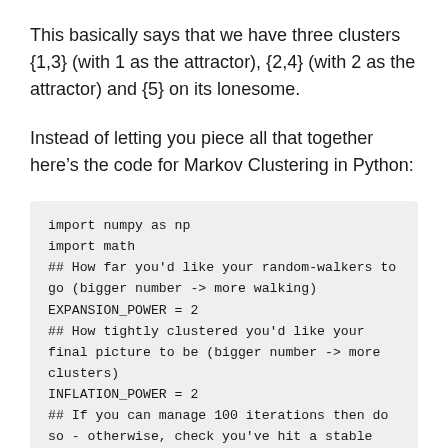This basically says that we have three clusters {1,3} (with 1 as the attractor), {2,4} (with 2 as the attractor) and {5} on its lonesome.
Instead of letting you piece all that together here’s the code for Markov Clustering in Python: